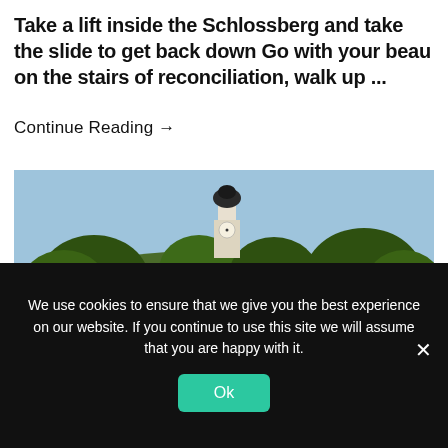Take a lift inside the Schlossberg and take the slide to get back down Go with your beau on the stairs of reconciliation, walk up ...
Continue Reading →
[Figure (photo): Photo of a hilltop castle or fortress with a clock tower, surrounded by dense green trees, taken from behind a glass railing, with a clear blue sky in the background.]
We use cookies to ensure that we give you the best experience on our website. If you continue to use this site we will assume that you are happy with it.